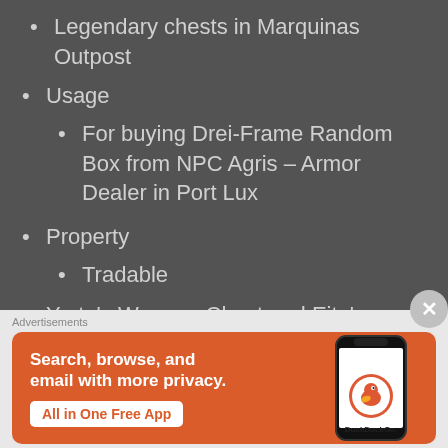Legendary chests in Marquinas Outpost
Usage
For buying Drei-Frame Random Box from NPC Agris – Armor Dealer in Port Lux
Property
Tradable
Yerte's Weapon Chest and Eite's Weapon Chest
Yerte's Weapon Chest and Eite's Weapon Chest (aka Lycanus Random Box) can be
[Figure (screenshot): DuckDuckGo advertisement banner: 'Search, browse, and email with more privacy. All in One Free App' with phone graphic and DuckDuckGo logo]